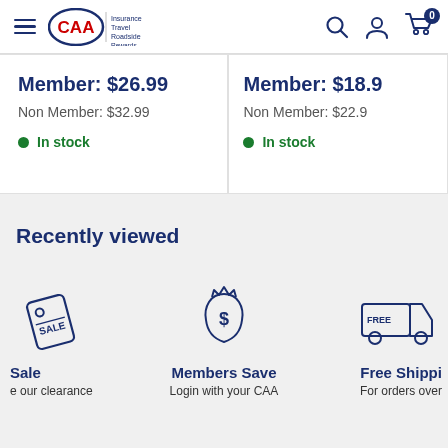[Figure (logo): CAA logo with Insurance, Travel, Roadside, Rewards text and navigation icons]
Member: $26.99
Non Member: $32.99
In stock
Member: $18.9
Non Member: $22.9
In stock
Recently viewed
Sale
our clearance
Members Save
Login with your CAA
Free Shipping
For orders over